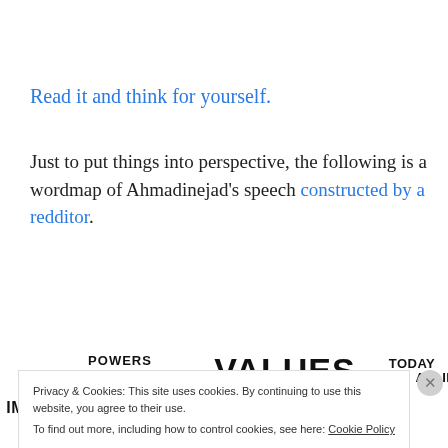Read it and think for yourself.
Just to put things into perspective, the following is a wordmap of Ahmadinejad's speech constructed by a redditor.
[Figure (other): Wordmap of Ahmadinejad's speech showing words like WORLD, VALUES, POWERS, COLLECTIVE, EUROPE, TODAY, ALLIES, DIGNITY, IMPOSED, CURRENT in varying font sizes]
Privacy & Cookies: This site uses cookies. By continuing to use this website, you agree to their use. To find out more, including how to control cookies, see here: Cookie Policy